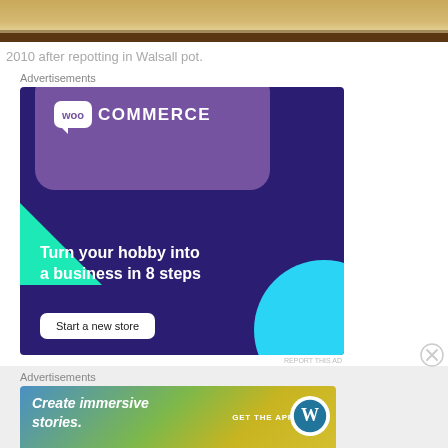[Figure (photo): Partial photo of a bonsai or plant in a pot, showing the top of a round, flat-topped trunk or soil surface.]
2010 after repotting in Walsall pot.
Advertisements
[Figure (illustration): WooCommerce advertisement banner with dark purple background, purple speech bubble with WooCommerce logo, green triangle on left, cyan circle on right. Text: Turn your hobby into a business in 8 steps. Button: Start a new store.]
REPORT THIS AD
Advertisements
[Figure (illustration): WordPress.com advertisement banner with gradient blue-green-yellow background. Text: Create immersive stories. GET THE APP with WordPress logo.]